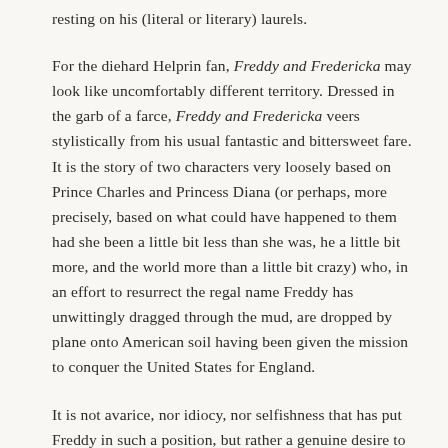resting on his (literal or literary) laurels.
For the diehard Helprin fan, Freddy and Fredericka may look like uncomfortably different territory. Dressed in the garb of a farce, Freddy and Fredericka veers stylistically from his usual fantastic and bittersweet fare. It is the story of two characters very loosely based on Prince Charles and Princess Diana (or perhaps, more precisely, based on what could have happened to them had she been a little bit less than she was, he a little bit more, and the world more than a little bit crazy) who, in an effort to resurrect the regal name Freddy has unwittingly dragged through the mud, are dropped by plane onto American soil having been given the mission to conquer the United States for England.
It is not avarice, nor idiocy, nor selfishness that has put Freddy in such a position, but rather a genuine desire to be a noble and honorable man and king. Bordering on the absurd